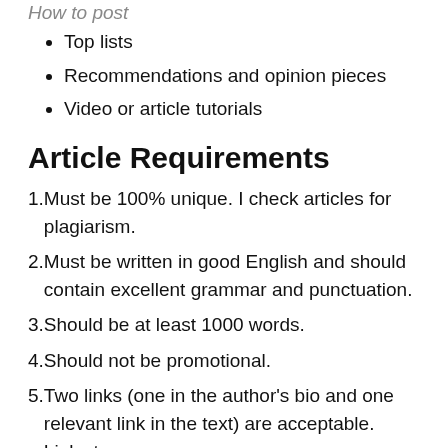Top lists
Recommendations and opinion pieces
Video or article tutorials
Article Requirements
Must be 100% unique. I check articles for plagiarism.
Must be written in good English and should contain excellent grammar and punctuation.
Should be at least 1000 words.
Should not be promotional.
Two links (one in the author's bio and one relevant link in the text) are acceptable. Links to